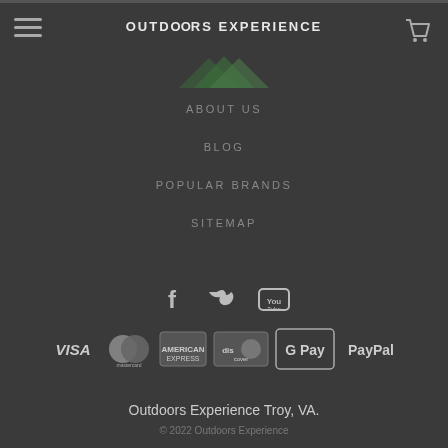OUTDOORS EXPERIENCE
ABOUT US
BLOG
POPULAR BRANDS
SITEMAP
[Figure (illustration): Social media icons: Facebook, Twitter, YouTube]
[Figure (illustration): Payment method logos: VISA, Mastercard, American Express, Discover, Google Pay, PayPal]
Outdoors Experience Troy, VA.
© 2022 Outdoors Experience